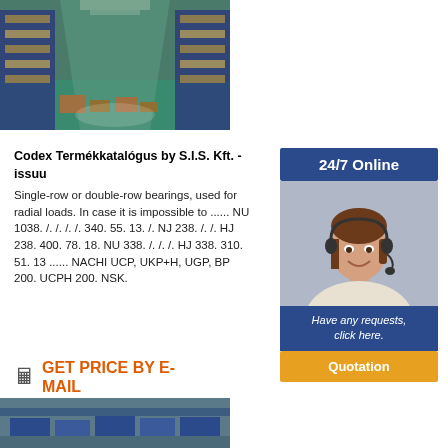[Figure (photo): Interior of a warehouse with tall metal shelving racks filled with boxes, green floor, taken from the aisle perspective]
Codex Termékkatalógus by S.I.S. Kft. - issuu
Single-row or double-row bearings, used for radial loads. In case it is impossible to ...... NU 1038. /. /. /. /. 340. 55. 13. /. NJ 238. /. /. HJ 238. 400. 78. 18. NU 338. /. /. /. HJ 338. 310. 51. 13 ...... NACHI UCP, UKP+H, UGP, BP 200. UCPH 200. NSK.
GET PRICE BY E-MAIL
[Figure (infographic): 24/7 Online service panel with a smiling female customer service agent wearing a headset, with Have any requests, click here text and a Quotation button]
[Figure (photo): Partial view of a warehouse or storage area with blue storage boxes visible at the bottom of the page]